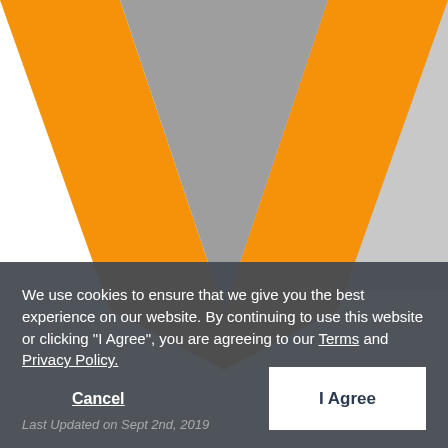[Figure (logo): Large V-shaped logo with orange outer V shape and gray inner triangle on white/gray background]
We use cookies to ensure that we give you the best experience on our website. By continuing to use this website or clicking "I Agree", you are agreeing to our Terms and Privacy Policy.
Cancel
I Agree
Last Updated on Sept 2nd, 2019